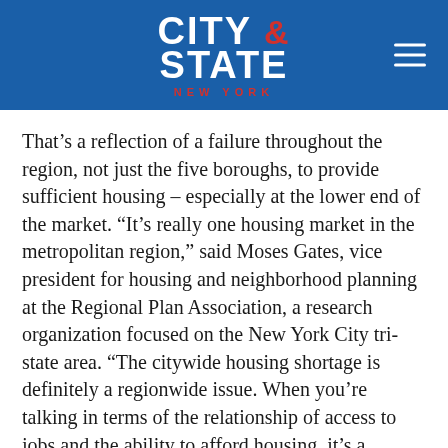[Figure (logo): City & State New York logo on blue background with hamburger menu icon]
That’s a reflection of a failure throughout the region, not just the five boroughs, to provide sufficient housing – especially at the lower end of the market. “It’s really one housing market in the metropolitan region,” said Moses Gates, vice president for housing and neighborhood planning at the Regional Plan Association, a research organization focused on the New York City tri-state area. “The citywide housing shortage is definitely a regionwide issue. When you’re talking in terms of the relationship of access to jobs and the ability to afford housing, it’s a problem that extends well beyond the city boundaries. And it’s a problem that everywhere is trending worse.”
Even within the city, the inability to raise taxes on the